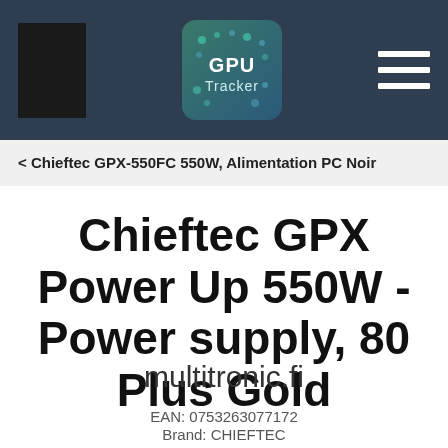[Figure (logo): GPU Tracker website header with dark blue/grey background, a black rectangle logo on the left, a GPU Tracker icon in the center, and a hamburger menu icon on the right]
< Chieftec GPX-550FC 550W, Alimentation PC Noir
Chieftec GPX Power Up 550W - Power supply, 80 Plus Gold
multitronic.fi
EAN: 0753263077172
Brand: CHIEFTEC